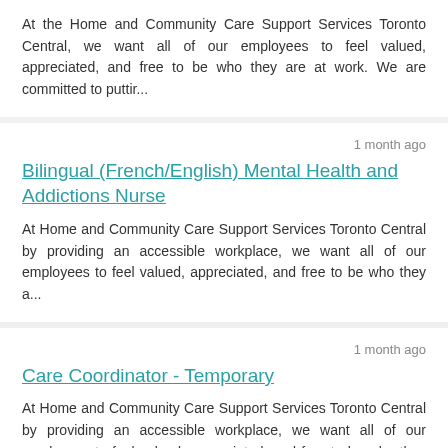At the Home and Community Care Support Services Toronto Central, we want all of our employees to feel valued, appreciated, and free to be who they are at work. We are committed to puttir...
1 month ago
Bilingual (French/English) Mental Health and Addictions Nurse
At Home and Community Care Support Services Toronto Central by providing an accessible workplace, we want all of our employees to feel valued, appreciated, and free to be who they a...
1 month ago
Care Coordinator - Temporary
At Home and Community Care Support Services Toronto Central by providing an accessible workplace, we want all of our employees to feel valued, appreciated, and free to be who they a...
9 months ago